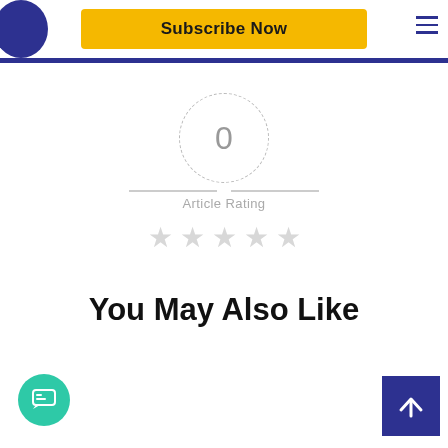Subscribe Now
[Figure (infographic): Article rating widget showing 0 inside a dashed circle with decorative dashes and 'Article Rating' label, with 5 empty grey stars below]
You May Also Like
[Figure (infographic): Teal circular chat button in the bottom left corner]
[Figure (infographic): Dark blue square back-to-top button with upward arrow in the bottom right corner]